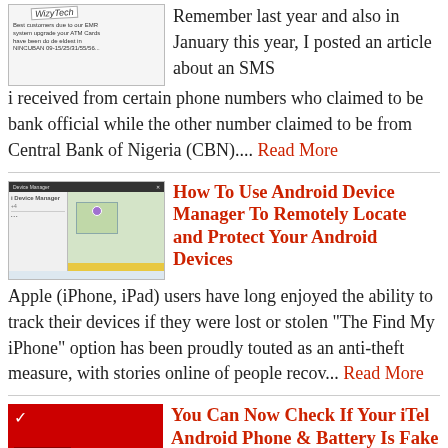[Figure (screenshot): WizyTech blog thumbnail with small text about ATM cards]
Remember last year and also in January this year, I posted an article about an SMS i received from certain phone numbers who claimed to be bank official while the other number claimed to be from Central Bank of Nigeria (CBN).... Read More
[Figure (screenshot): Android Device Manager screenshot showing map interface with device manager sidebar]
How To Use Android Device Manager To Remotely Locate and Protect Your Android Devices
Apple (iPhone, iPad) users have long enjoyed the ability to track their devices if they were lost or stolen "The Find My iPhone" option has been proudly touted as an anti-theft measure, with stories online of people recov... Read More
[Figure (screenshot): Red iTel Phone Check image with white checkmark logo]
You Can Now Check If Your iTel Android Phone & Battery Is Fake Or